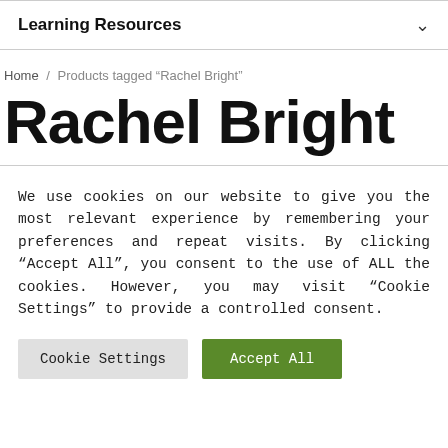Learning Resources
Home / Products tagged “Rachel Bright”
Rachel Bright
We use cookies on our website to give you the most relevant experience by remembering your preferences and repeat visits. By clicking “Accept All”, you consent to the use of ALL the cookies. However, you may visit “Cookie Settings” to provide a controlled consent.
Cookie Settings | Accept All